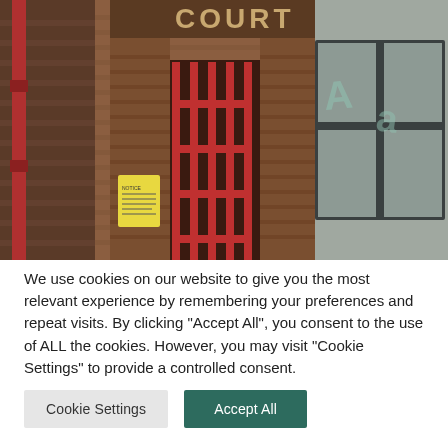[Figure (photo): Exterior photograph of a brick building with 'COURT' lettering visible at top, a red metal gate/bars entrance, a yellow notice sign on the wall, a red drainpipe on the left, and large dark-framed windows on the right reflecting another building with graffiti-style lettering]
We use cookies on our website to give you the most relevant experience by remembering your preferences and repeat visits. By clicking "Accept All", you consent to the use of ALL the cookies. However, you may visit "Cookie Settings" to provide a controlled consent.